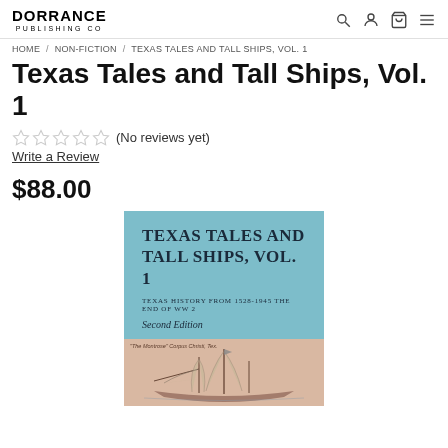DORRANCE PUBLISHING CO
HOME / NON-FICTION / TEXAS TALES AND TALL SHIPS, VOL. 1
Texas Tales and Tall Ships, Vol. 1
(No reviews yet)
Write a Review
$88.00
[Figure (illustration): Book cover for Texas Tales and Tall Ships, Vol. 1. Top half has a teal/blue background with the title text and subtitle 'Texas History from 1528-1945 The End of WW 2' and 'Second Edition' in italic. Bottom half has a beige/tan background with a sketch illustration of a tall ship.]